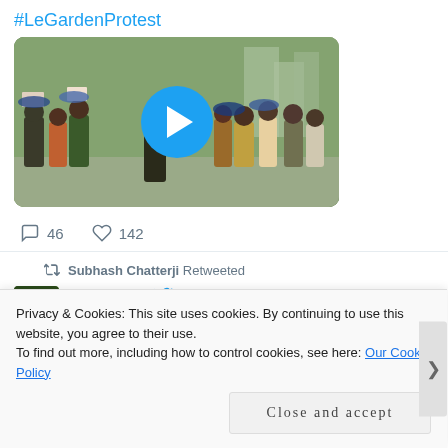#LeGardenProtest
[Figure (screenshot): Video thumbnail showing a protest scene with people holding signs outdoors in rain. A large blue play button is centered over the image.]
46   142
Subhash Chatterji Retweeted
[Figure (logo): Le Garden logo - circular avatar with leaf design]
LeGarde...  @... · Jul 26
हम सब... एकजुट हो गए. विरोध
Privacy & Cookies: This site uses cookies. By continuing to use this website, you agree to their use.
To find out more, including how to control cookies, see here: Our Cookie Policy
Close and accept